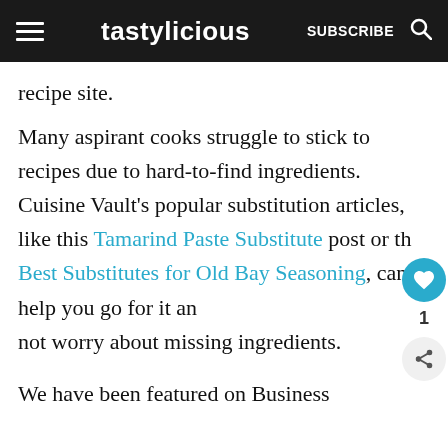tastylicious  SUBSCRIBE
recipe site.
Many aspirant cooks struggle to stick to recipes due to hard-to-find ingredients. Cuisine Vault’s popular substitution articles, like this Tamarind Paste Substitute post or the Best Substitutes for Old Bay Seasoning, can help you go for it and not worry about missing ingredients.
We have been featured on Business